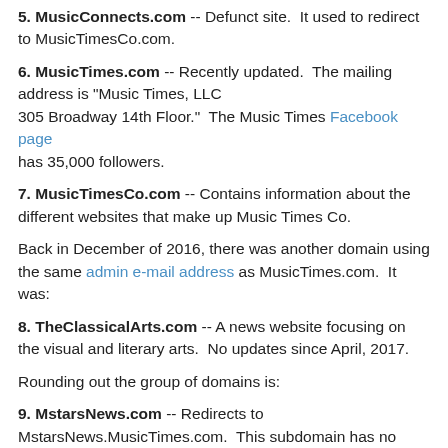5. MusicConnects.com -- Defunct site.  It used to redirect to MusicTimesCo.com.
6. MusicTimes.com -- Recently updated.  The mailing address is "Music Times, LLC 305 Broadway 14th Floor."  The Music Times Facebook page has 35,000 followers.
7. MusicTimesCo.com -- Contains information about the different websites that make up Music Times Co.
Back in December of 2016, there was another domain using the same admin e-mail address as MusicTimes.com.  It was:
8. TheClassicalArts.com -- A news website focusing on the visual and literary arts.  No updates since April, 2017.
Rounding out the group of domains is:
9. MstarsNews.com -- Redirects to MstarsNews.MusicTimes.com.  This subdomain has no updates since October, 2017.